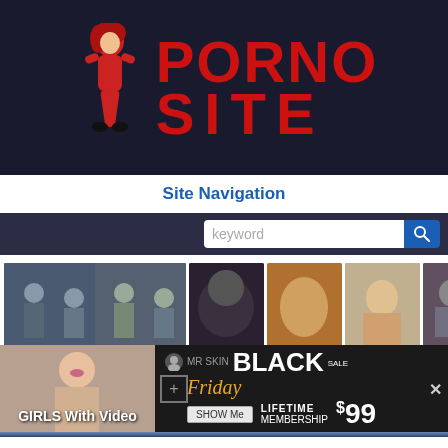[Figure (logo): Porno Site logo with red anime-style female figure and red bold text reading PORNO SITE on dark navy background]
Site Navigation
[Figure (screenshot): Search box with keyword placeholder and blue search icon button]
[Figure (screenshot): Thumbnail row showing 4 adult video thumbnails with labels: Adult spanking and getting you..., Anime monster cumshot compilation, Oiled fisting tube, Shaved korean amateur, Pantyhose swinger tubes, with right arrow navigation button]
Adult spanking and getting you movie to spank
Anime monster cumshot compilation
Oiled fisting tube
Shaved korean amateur
Pantyhose swinger tubes
[Figure (screenshot): MR SKIN Black Friday Sale advertisement showing a woman laughing, GIRLS With Video text, LIFETIME MEMBERSHIP $99 offer with SHOW MORE button]